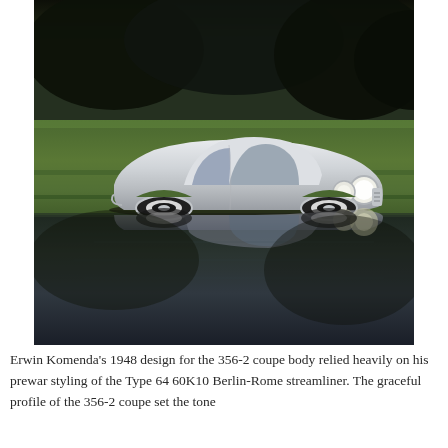[Figure (photo): A silver/white Porsche 356-2 coupe photographed on grass near water, with its reflection visible in the still water below. The car is shown in three-quarter front view with round headlights and streamlined body. Background shows dark trees. The reflection creates a mirror image of the car in the water below.]
Erwin Komenda's 1948 design for the 356-2 coupe body relied heavily on his prewar styling of the Type 64 60K10 Berlin-Rome streamliner. The graceful profile of the 356-2 coupe set the tone